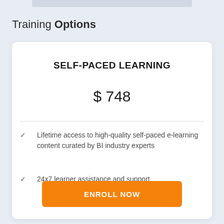Training Options
SELF-PACED LEARNING
$ 748
Lifetime access to high-quality self-paced e-learning content curated by BI industry experts
24x7 learner assistance and support
ENROLL NOW